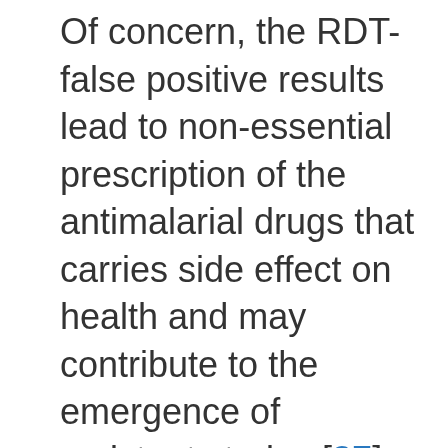Of concern, the RDT-false positive results lead to non-essential prescription of the antimalarial drugs that carries side effect on health and may contribute to the emergence of resistant strains [37]. Performance variations of different RDTs have been described based on the transmission settings. Ranadive et al. [38] have